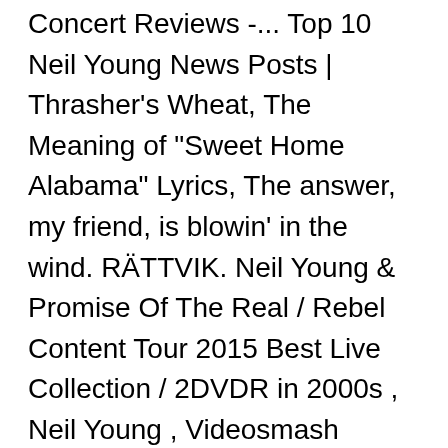Concert Reviews -... Top 10 Neil Young News Posts | Thrasher's Wheat, The Meaning of "Sweet Home Alabama" Lyrics, The answer, my friend, is blowin' in the wind. RÄTTVIK. Neil Young & Promise Of The Real / Rebel Content Tour 2015 Best Live Collection / 2DVDR in 2000s , Neil Young , Videosmash 2015/08/31 676 Views Translated Text: NEIL YOUNG + Promise of the Real - REBEL CONTENT AT THE BOWL 2015กกกกกกกกกกกกกกกกกกกกกกกกกกกกกกกกกกกกกกกกกกกกกกกกกกกกกกกกกกกกกกกกกกกกกกกกกกกกกกกกกกกกกกกกกกกกกกกกกกก"กกกกกกกกกกกกกกกกกกกกก 2015"กกกกกกกกกกกก … Last night, Neil Young and Promise of The Real began a lengthy European leg of their Rebel Content Tour at The SSE Hydro in Glasgow, Scotland. IN EEN ZIN: Young